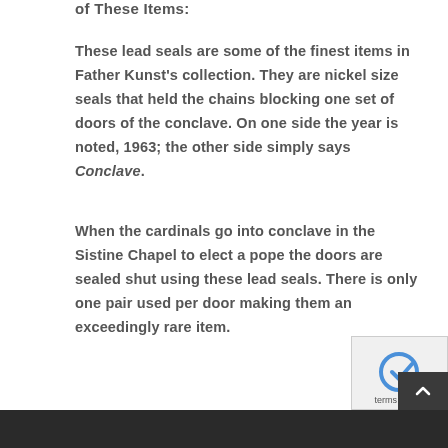of These Items:
These lead seals are some of the finest items in Father Kunst's collection. They are nickel size seals that held the chains blocking one set of doors of the conclave. On one side the year is noted, 1963; the other side simply says Conclave.
When the cardinals go into conclave in the Sistine Chapel to elect a pope the doors are sealed shut using these lead seals. There is only one pair used per door making them an exceedingly rare item.
terms